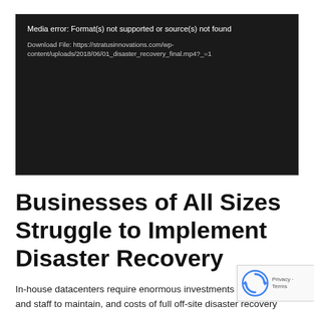[Figure (screenshot): Black video player error box showing: 'Media error: Format(s) not supported or source(s) not found' and 'Download File: https://stratusinnovations.com/wp-content/uploads/2018/06/01_disaster_recovery_final.mp4?_=1']
Businesses of All Sizes Struggle to Implement Disaster Recovery
In-house datacenters require enormous investments in ha... and staff to maintain, and costs of full off-site disaster reco... (DR) quickly escalate to hundreds of thousands of dollars. One of